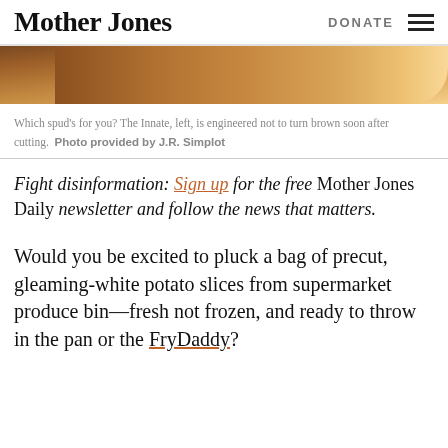Mother Jones | DONATE
[Figure (photo): Partial view of a wooden-handled kitchen implement or cutting board, brown wood tones, cropped at bottom of header area.]
Which spud's for you? The Innate, left, is engineered not to turn brown soon after cutting. Photo provided by J.R. Simplot
Fight disinformation: Sign up for the free Mother Jones Daily newsletter and follow the news that matters.
Would you be excited to pluck a bag of precut, gleaming-white potato slices from supermarket produce bin—fresh not frozen, and ready to throw in the pan or the FryDaddy?